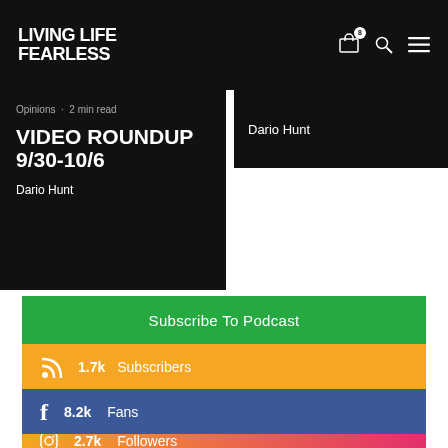LIVING LIFE FEARLESS
Opinions · 2 min read
VIDEO ROUNDUP 9/30-10/6
Dario Hunt
Dario Hunt
Subscribe To Podcast
1.7k  Subscribers
8.2k  Fans
2.7k  Followers